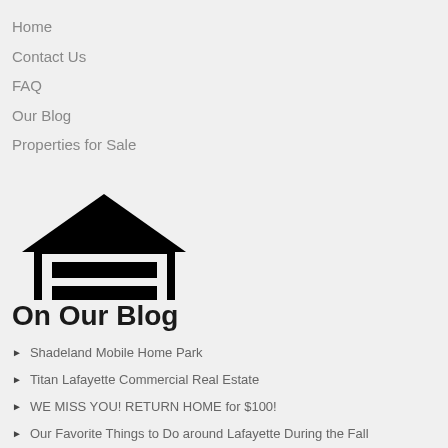Home
Contact Us
FAQ
Our Blog
Properties for Sale
[Figure (logo): Equal Housing Opportunity logo — house icon outline with two horizontal bars inside, with text EQUAL HOUSING OPPORTUNITY below]
On Our Blog
Shadeland Mobile Home Park
Titan Lafayette Commercial Real Estate
WE MISS YOU! RETURN HOME for $100!
Our Favorite Things to Do around Lafayette During the Fall